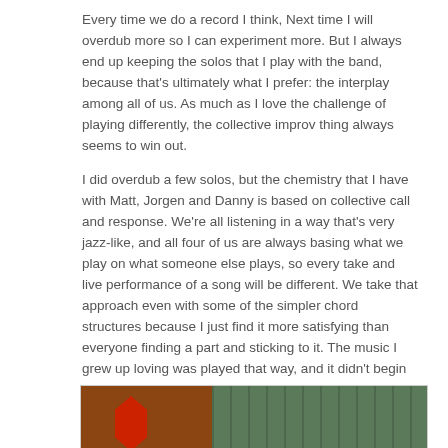Every time we do a record I think, Next time I will overdub more so I can experiment more. But I always end up keeping the solos that I play with the band, because that's ultimately what I prefer: the interplay among all of us. As much as I love the challenge of playing differently, the collective improv thing always seems to win out.
I did overdub a few solos, but the chemistry that I have with Matt, Jorgen and Danny is based on collective call and response. We're all listening in a way that's very jazz-like, and all four of us are always basing what we play on what someone else plays, so every take and live performance of a song will be different. We take that approach even with some of the simpler chord structures because I just find it more satisfying than everyone finding a part and sticking to it. The music I grew up loving was played that way, and it didn't begin to change until the mid Seventies, which I think was to its detriment, because there was so much beautiful music made by taking that everyone-listening-to-everyone approach.
[Figure (photo): A photograph split into two sections: left side shows a red sculptural figure against a dark background, right side shows a green outdoor scene with vertical window/fence elements.]